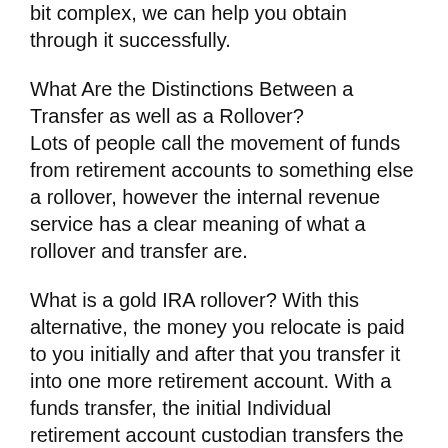bit complex, we can help you obtain through it successfully.
What Are the Distinctions Between a Transfer as well as a Rollover?
Lots of people call the movement of funds from retirement accounts to something else a rollover, however the internal revenue service has a clear meaning of what a rollover and transfer are.
What is a gold IRA rollover? With this alternative, the money you relocate is paid to you initially and after that you transfer it into one more retirement account. With a funds transfer, the initial Individual retirement account custodian transfers the funds right into a Gold IRA account to the